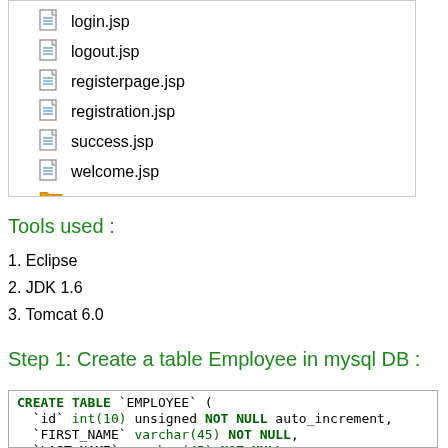[Figure (screenshot): IDE file tree showing JSP files: login.jsp, logout.jsp, registerpage.jsp, registration.jsp, success.jsp, welcome.jsp, and a partial folder icon below]
Tools used :
1. Eclipse
2. JDK 1.6
3. Tomcat 6.0
Step 1: Create a table Employee in mysql DB :
CREATE TABLE `EMPLOYEE` (
  `id` int(10) unsigned NOT NULL auto_increment,
  `FIRST_NAME` varchar(45) NOT NULL,
  `LAST_NAME` varchar(45) NOT NULL,